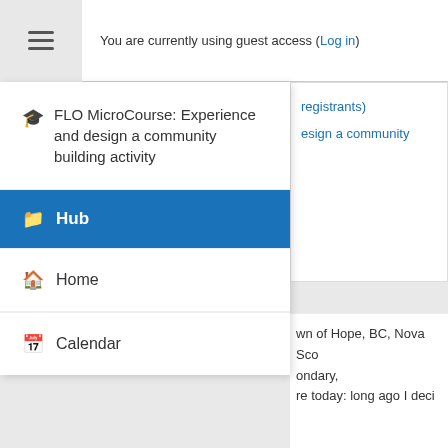You are currently using guest access (Log in)
FLO MicroCourse: Experience and design a community building activity
Hub
Home
Calendar
registrants)
esign a community
wn of Hope, BC, Nova Sco ondary, re today: long ago I deci